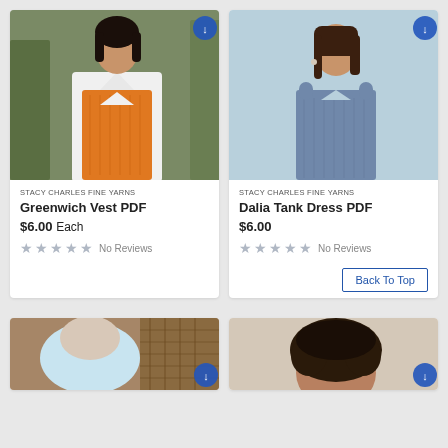[Figure (photo): Woman wearing orange knit vest over white shirt, dark hair, outdoor background]
STACY CHARLES FINE YARNS
Greenwich Vest PDF
$6.00 Each
No Reviews
[Figure (photo): Woman in blue sleeveless knit tank dress, light blue background]
STACY CHARLES FINE YARNS
Dalia Tank Dress PDF
$6.00
No Reviews
Back To Top
[Figure (photo): Partial view of person in light blue top, warm background]
[Figure (photo): Partial view of woman with curly hair, light background]